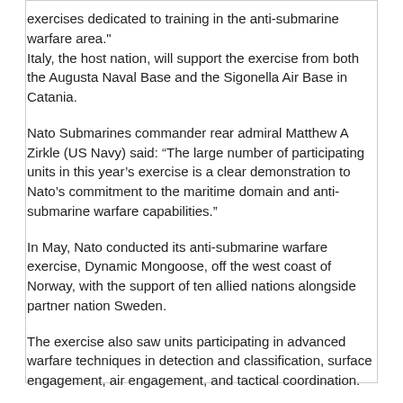exercises dedicated to training in the anti-submarine warfare area." Italy, the host nation, will support the exercise from both the Augusta Naval Base and the Sigonella Air Base in Catania.
Nato Submarines commander rear admiral Matthew A Zirkle (US Navy) said: “The large number of participating units in this year’s exercise is a clear demonstration to Nato’s commitment to the maritime domain and anti-submarine warfare capabilities.”
In May, Nato conducted its anti-submarine warfare exercise, Dynamic Mongoose, off the west coast of Norway, with the support of ten allied nations alongside partner nation Sweden.
The exercise also saw units participating in advanced warfare techniques in detection and classification, surface engagement, air engagement, and tactical coordination.
Uncategorised